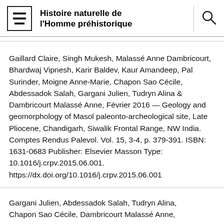Histoire naturelle de l'Homme préhistorique
Gaillard Claire, Singh Mukesh, Malassé Anne Dambricourt, Bhardwaj Vipnesh, Karir Baldev, Kaur Amandeep, Pal Surinder, Moigne Anne-Marie, Chapon Sao Cécile, Abdessadok Salah, Gargani Julien, Tudryn Alina & Dambricourt Malassé Anne, Février 2016 — Geology and geomorphology of Masol paleonto-archeological site, Late Pliocene, Chandigarh, Siwalik Frontal Range, NW India. Comptes Rendus Palevol. Vol. 15, 3-4, p. 379-391. ISBN: 1631-0683 Publisher: Elsevier Masson Type: 10.1016/j.crpv.2015.06.001. https://dx.doi.org/10.1016/j.crpv.2015.06.001
Gargani Julien, Abdessadok Salah, Tudryn Alina, Chapon Sao Cécile, Dambricourt Malassé Anne,